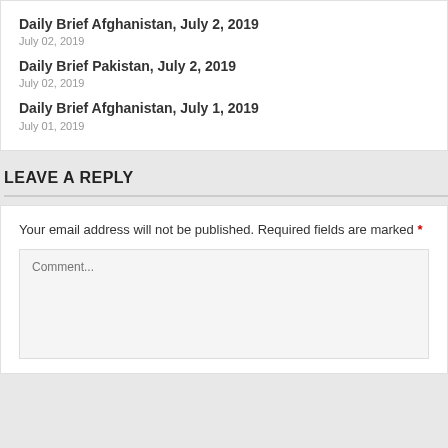Daily Brief Afghanistan, July 2, 2019
July 02, 2019
Daily Brief Pakistan, July 2, 2019
July 02, 2019
Daily Brief Afghanistan, July 1, 2019
July 01, 2019
LEAVE A REPLY
Your email address will not be published. Required fields are marked *
Comment...